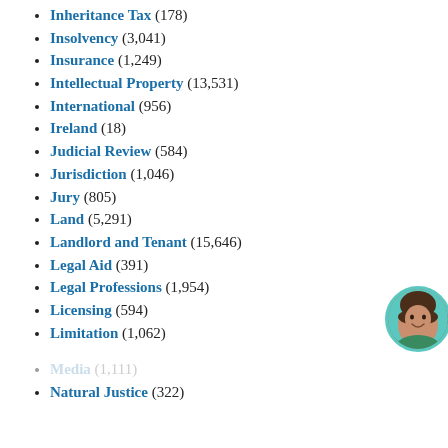Inheritance Tax (178)
Insolvency (3,041)
Insurance (1,249)
Intellectual Property (13,531)
International (956)
Ireland (18)
Judicial Review (584)
Jurisdiction (1,046)
Jury (805)
Land (5,291)
Landlord and Tenant (15,646)
Legal Aid (391)
Legal Professions (1,954)
Licensing (594)
Limitation (1,062)
[Figure (photo): Chat widget overlay with text 'Want to ask a Solicitor online now? I can connect you ...' and circular avatar of a smiling woman]
Media (1,111)
Natural Justice (322)